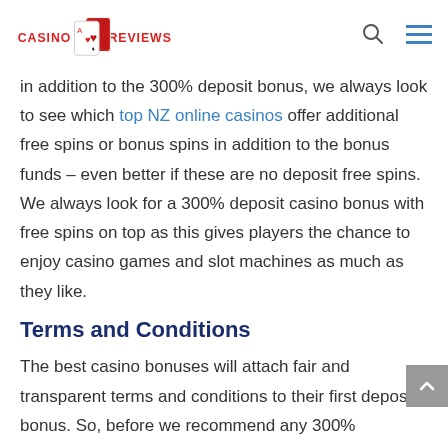Casino Reviews
In addition to the 300% deposit bonus, we always look to see which top NZ online casinos offer additional free spins or bonus spins in addition to the bonus funds – even better if these are no deposit free spins. We always look for a 300% deposit casino bonus with free spins on top as this gives players the chance to enjoy casino games and slot machines as much as they like.
Terms and Conditions
The best casino bonuses will attach fair and transparent terms and conditions to their first deposit bonus. So, before we recommend any 300%